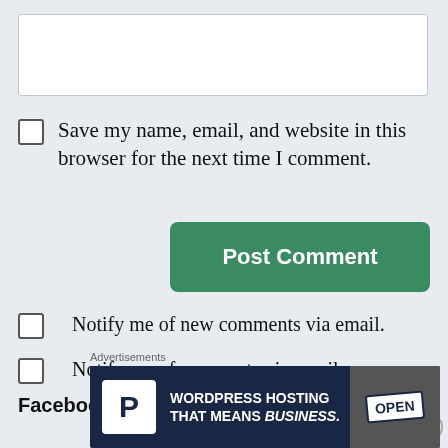[Figure (screenshot): Text area input box, empty, white background with border]
Save my name, email, and website in this browser for the next time I comment.
[Figure (screenshot): Post Comment button, green rounded rectangle]
Notify me of new comments via email.
Notify me of new posts via email.
Facebook   Twitter   Instagram   Pinterest
Advertisements
[Figure (screenshot): WordPress Hosting ad banner: logo P, text WORDPRESS HOSTING THAT MEANS BUSINESS., photo of OPEN sign]